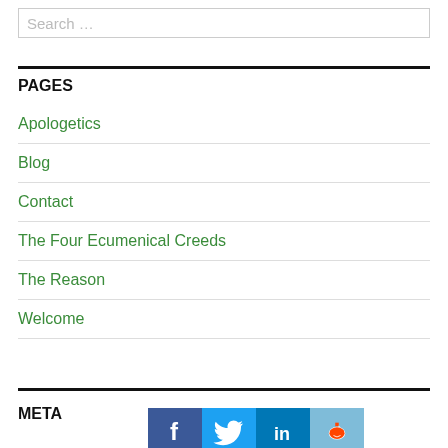Search …
PAGES
Apologetics
Blog
Contact
The Four Ecumenical Creeds
The Reason
Welcome
META
[Figure (infographic): Social media sharing icons: Facebook (dark blue), Twitter (light blue), LinkedIn (medium blue), Reddit (light blue with alien logo)]